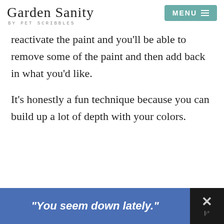Garden Sanity by Pet Scribbles | MENU
reactivate the paint and you'll be able to remove some of the paint and then add back in what you'd like.
It's honestly a fun technique because you can build up a lot of depth with your colors.
[Figure (other): Advertisement banner: blue background with bold italic text '"You seem down lately."' and a close button (X) on a dark background with a logo icon]